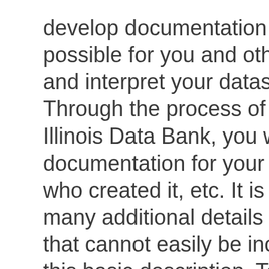develop documentation that will make it possible for you and others to understand and interpret your dataset in the future. Through the process of depositing in the Illinois Data Bank, you will provide high-level documentation for your dataset, like its title, who created it, etc. It is likely that there are many additional details about your dataset that cannot easily be included as a part of this basic description. To provide customized, detailed information about your dataset, we recommend that you include a documentation file as a part of your dataset deposit.
For more information about how to develop documentation files, please